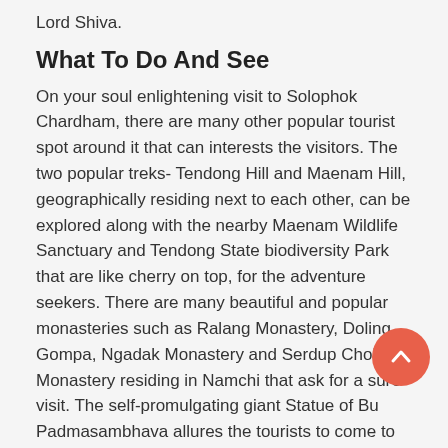Lord Shiva.
What To Do And See
On your soul enlightening visit to Solophok Chardham, there are many other popular tourist spot around it that can interests the visitors. The two popular treks- Tendong Hill and Maenam Hill, geographically residing next to each other, can be explored along with the nearby Maenam Wildlife Sanctuary and Tendong State biodiversity Park that are like cherry on top, for the adventure seekers. There are many beautiful and popular monasteries such as Ralang Monastery, Doling Gompa, Ngadak Monastery and Serdup Choling Monastery residing in Namchi that ask for a sure visit. The self-promulgating giant Statue of Bu Padmasambhava allures the tourists to come to Samdruptse Hill for a closer lstare.
Getting There
Solophok Chardham is situated 5 km away from Namchi,